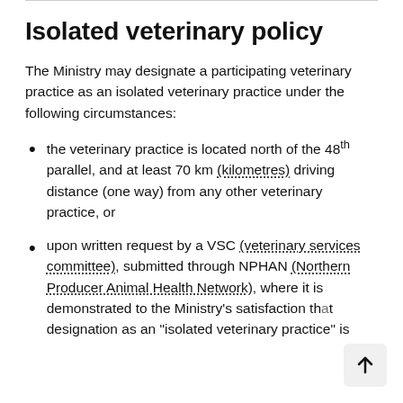Isolated veterinary policy
The Ministry may designate a participating veterinary practice as an isolated veterinary practice under the following circumstances:
the veterinary practice is located north of the 48th parallel, and at least 70 km (kilometres) driving distance (one way) from any other veterinary practice, or
upon written request by a VSC (veterinary services committee), submitted through NPHAN (Northern Producer Animal Health Network), where it is demonstrated to the Ministry's satisfaction that designation as an "isolated veterinary practice" is